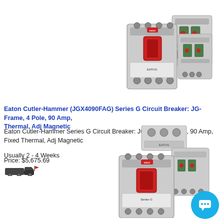[Figure (photo): Eaton Cutler-Hammer JGX4090FAG Series G Circuit Breaker product photo showing multiple circuit breaker units]
Eaton Cutler-Hammer (JGX4090FAG) Series G Circuit Breaker: JG-Frame, 4 Pole, 90 Amp, Fixed Thermal, Adj Magnetic
Eaton Cutler-Hammer Series G Circuit Breaker: JG-Frame, 4 Pole, 90 Amp, Fixed Thermal, Adj Magnetic
Usually 2 - 4 Weeks
Price: $5,675.69
[Figure (photo): Eaton Cutler-Hammer Series G Circuit Breaker product photo showing multiple circuit breaker units (second listing)]